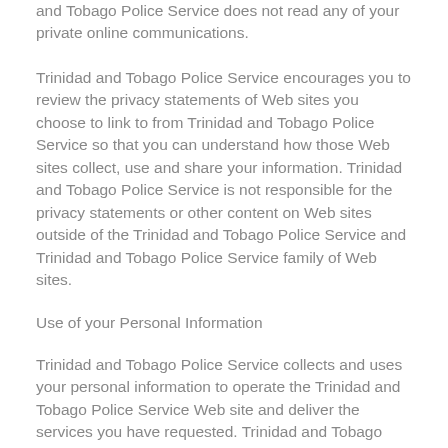and Tobago Police Service does not read any of your private online communications.
Trinidad and Tobago Police Service encourages you to review the privacy statements of Web sites you choose to link to from Trinidad and Tobago Police Service so that you can understand how those Web sites collect, use and share your information. Trinidad and Tobago Police Service is not responsible for the privacy statements or other content on Web sites outside of the Trinidad and Tobago Police Service and Trinidad and Tobago Police Service family of Web sites.
Use of your Personal Information
Trinidad and Tobago Police Service collects and uses your personal information to operate the Trinidad and Tobago Police Service Web site and deliver the services you have requested. Trinidad and Tobago Police Service also uses your personally identifiable information to inform you of other products or